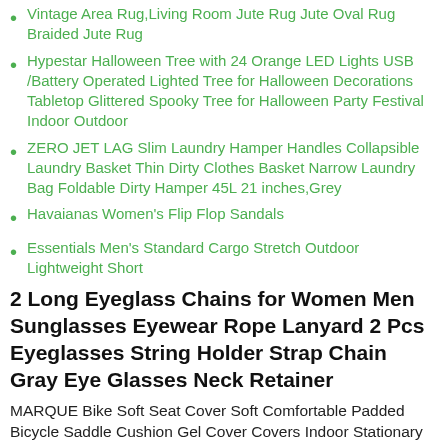Vintage Area Rug,Living Room Jute Rug Jute Oval Rug Braided Jute Rug
Hypestar Halloween Tree with 24 Orange LED Lights USB /Battery Operated Lighted Tree for Halloween Decorations Tabletop Glittered Spooky Tree for Halloween Party Festival Indoor Outdoor
ZERO JET LAG Slim Laundry Hamper Handles Collapsible Laundry Basket Thin Dirty Clothes Basket Narrow Laundry Bag Foldable Dirty Hamper 45L 21 inches,Grey
Havaianas Women's Flip Flop Sandals
Essentials Men's Standard Cargo Stretch Outdoor Lightweight Short
2 Long Eyeglass Chains for Women Men Sunglasses Eyewear Rope Lanyard 2 Pcs Eyeglasses String Holder Strap Chain Gray Eye Glasses Neck Retainer
MARQUE Bike Soft Seat Cover Soft Comfortable Padded Bicycle Saddle Cushion Gel Cover Covers Indoor Stationary Exercise Peloton Seat, Healing Crystal Pointed Quartz Stones Jewelry Charms with Chains for Women Girls Friends Gift Hexagonal Crystal Clear Wire Wrap Gemstone Necklaces 24 PCS Crystal Necklace Pendant, Matte Black Bathroom Luxury Shower Faucet Rain Mixer 8 Inch Round Head Double Cross Handle Bathroom Bathtub Hand